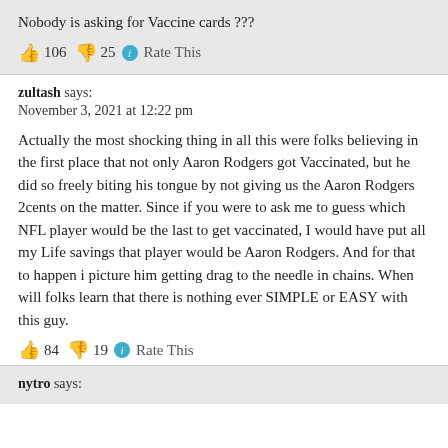Nobody is asking for Vaccine cards ???
👍 106 👎 25 ℹ Rate This
zultash says:
November 3, 2021 at 12:22 pm
Actually the most shocking thing in all this were folks believing in the first place that not only Aaron Rodgers got Vaccinated, but he did so freely biting his tongue by not giving us the Aaron Rodgers 2cents on the matter. Since if you were to ask me to guess which NFL player would be the last to get vaccinated, I would have put all my Life savings that player would be Aaron Rodgers. And for that to happen i picture him getting drag to the needle in chains. When will folks learn that there is nothing ever SIMPLE or EASY with this guy.
👍 84 👎 19 ℹ Rate This
nytro says: